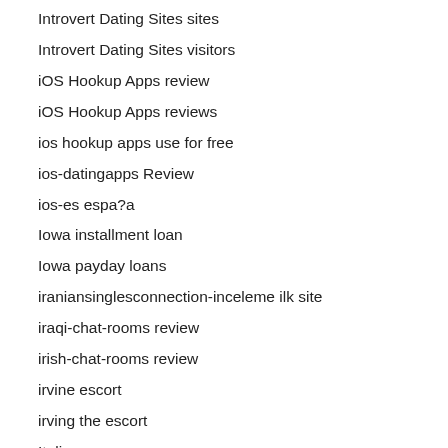Introvert Dating Sites sites
Introvert Dating Sites visitors
iOS Hookup Apps review
iOS Hookup Apps reviews
ios hookup apps use for free
ios-datingapps Review
ios-es espa?a
Iowa installment loan
Iowa payday loans
iraniansinglesconnection-inceleme ilk site
iraqi-chat-rooms review
irish-chat-rooms review
irvine escort
irving the escort
Italian
italy-disabled-dating review
jackd dating
jackd-vs-grindr sites